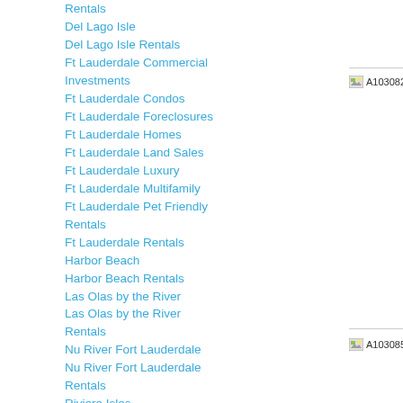Rentals
Del Lago Isle
Del Lago Isle Rentals
Ft Lauderdale Commercial Investments
Ft Lauderdale Condos
Ft Lauderdale Foreclosures
Ft Lauderdale Homes
Ft Lauderdale Land Sales
Ft Lauderdale Luxury
Ft Lauderdale Multifamily
Ft Lauderdale Pet Friendly Rentals
Ft Lauderdale Rentals
Harbor Beach
Harbor Beach Rentals
Las Olas by the River
Las Olas by the River Rentals
Nu River Fort Lauderdale
Nu River Fort Lauderdale Rentals
Riviera Isles
Riviera Isles Rentals
Sunrise
Sunrise Rentals
The Symphony
The Symphony Rentals
Venezia Las Olas
Venezia Las Olas Rentals
Waverly Fort Lauderdale
Waverly Fort Lauderdale
[Figure (other): Broken image placeholder labeled A10308211]
[Figure (other): Broken image placeholder labeled A10308546]